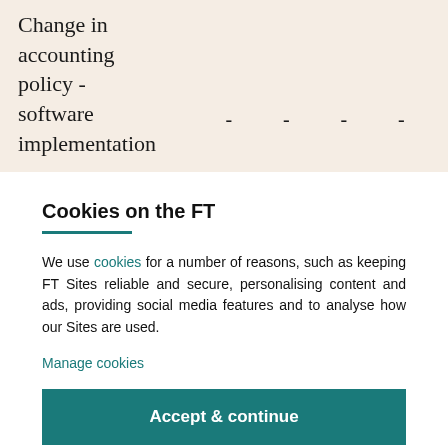Change in accounting policy - software implementation
- - - -
Cookies on the FT
We use cookies for a number of reasons, such as keeping FT Sites reliable and secure, personalising content and ads, providing social media features and to analyse how our Sites are used.
Manage cookies
Accept & continue